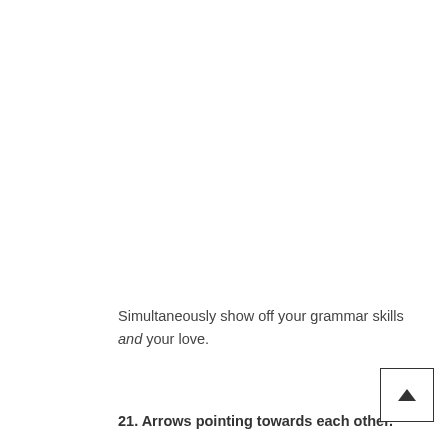Simultaneously show off your grammar skills and your love.
21. Arrows pointing towards each other.